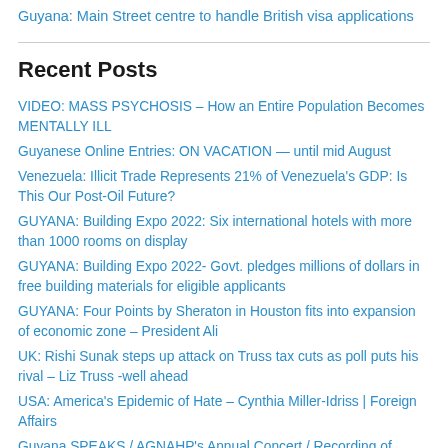Guyana: Main Street centre to handle British visa applications
Recent Posts
VIDEO: MASS PSYCHOSIS – How an Entire Population Becomes MENTALLY ILL
Guyanese Online Entries: ON VACATION — until mid August
Venezuela: Illicit Trade Represents 21% of Venezuela's GDP: Is This Our Post-Oil Future?
GUYANA: Building Expo 2022: Six international hotels with more than 1000 rooms on display
GUYANA: Building Expo 2022- Govt. pledges millions of dollars in free building materials for eligible applicants
GUYANA: Four Points by Sheraton in Houston fits into expansion of economic zone – President Ali
UK: Rishi Sunak steps up attack on Truss tax cuts as poll puts his rival – Liz Truss -well ahead
USA: America's Epidemic of Hate – Cynthia Miller-Idriss | Foreign Affairs
Guyana SPEAKS / AGNAHP's Annual Concert / Recording of 'Empire to